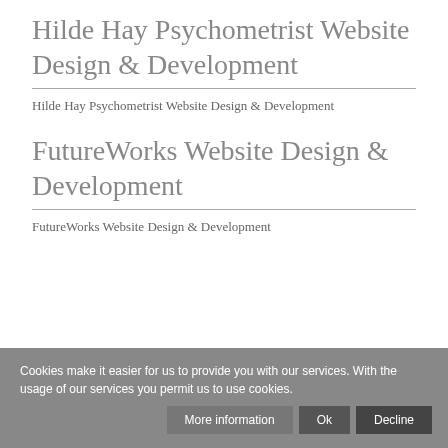Hilde Hay Psychometrist Website Design & Development
Hilde Hay Psychometrist Website Design & Development
FutureWorks Website Design & Development
FutureWorks Website Design & Development
Cookies make it easier for us to provide you with our services. With the usage of our services you permit us to use cookies.